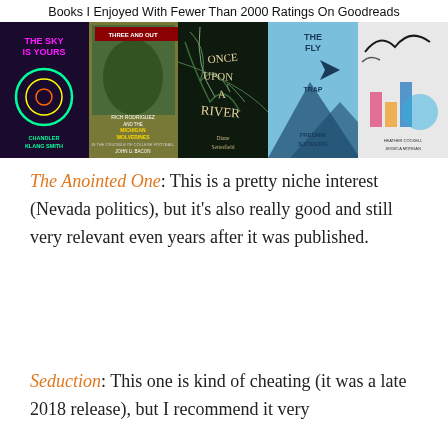Books I Enjoyed With Fewer Than 2000 Ratings On Goodreads
[Figure (photo): A collage of five book covers: 'The Sky Is Yours' by Chandler Klang Smith, 'Three and Out: Rich Rodriguez and the Michigan Wolverines in the Crucible of College Football' by John U. Bacon, 'Once Upon a River' by Diane Setterfield, 'The Fly Trap' by Fredrik Sjöberg, and an unnamed book by Heather Cockell and Jessica Morgan.]
The Anointed One: This is a pretty niche interest (Nevada politics), but it's also really good and still very relevant even years after it was published.
Seduction: This one is kind of cheating (it was a late 2018 release), but I recommend it very